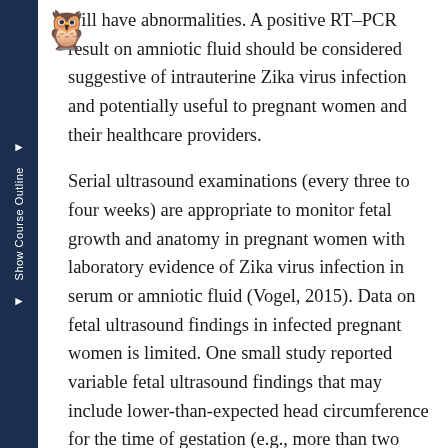[Figure (illustration): Owl mascot icon with graduation cap, positioned top-left near sidebar]
will have abnormalities. A positive RT-PCR result on amniotic fluid should be considered suggestive of intrauterine Zika virus infection and potentially useful to pregnant women and their healthcare providers.
Serial ultrasound examinations (every three to four weeks) are appropriate to monitor fetal growth and anatomy in pregnant women with laboratory evidence of Zika virus infection in serum or amniotic fluid (Vogel, 2015). Data on fetal ultrasound findings in infected pregnant women is limited. One small study reported variable fetal ultrasound findings that may include lower-than-expected head circumference for the time of gestation (e.g., more than two standard deviations below the mean), focal